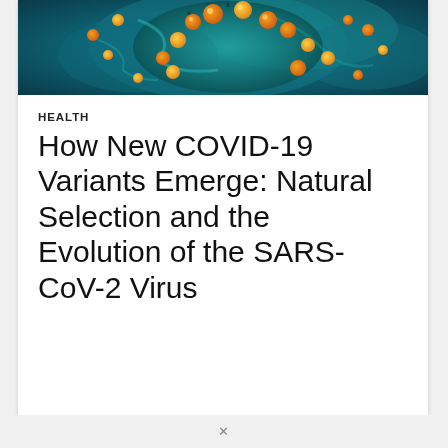[Figure (photo): Microscope image of SARS-CoV-2 coronavirus particles, shown in teal/cyan color with orange and yellow spherical virus particles on the surface and surrounding the cell]
HEALTH
How New COVID-19 Variants Emerge: Natural Selection and the Evolution of the SARS-CoV-2 Virus